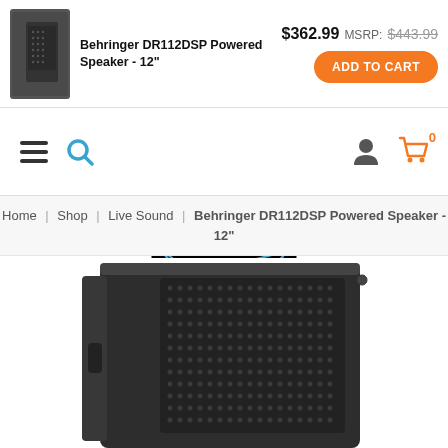Behringer DR112DSP Powered Speaker - 12" | $362.99 MSRP: $443.99 | ADD TO CART
[Figure (logo): Cosmo Music logo — white text on black background with blue swoosh]
Home | Shop | Live Sound | Behringer DR112DSP Powered Speaker - 12"
[Figure (photo): Behringer DR112DSP powered speaker, black, angled view showing perforated front grille and side handle]